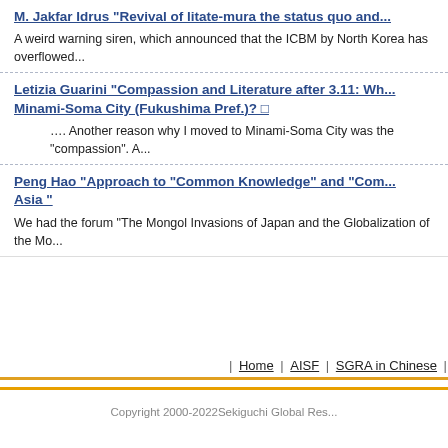M. Jakfar Idrus "Revival of litate-mura the status quo and...
A weird warning siren, which announced that the ICBM by North Korea has overflowed...
Letizia Guarini "Compassion and Literature after 3.11: Wh... Minami-Soma City (Fukushima Pref.)?
.... Another reason why I moved to Minami-Soma City was the “compassion”. A...
Peng Hao “Approach to “Common Knowledge” and “Com... Asia “
We had the forum “The Mongol Invasions of Japan and the Globalization of the Mo...
| Home | AISF | SGRA in Chinese |
Copyright 2000-2022Sekiguchi Global Res...